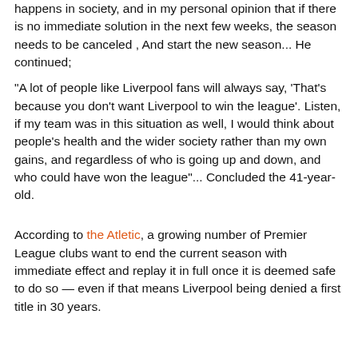happens in society, and in my personal opinion that if there is no immediate solution in the next few weeks, the season needs to be canceled , And start the new season... He continued;
"A lot of people like Liverpool fans will always say, 'That's because you don't want Liverpool to win the league'. Listen, if my team was in this situation as well, I would think about people's health and the wider society rather than my own gains, and regardless of who is going up and down, and who could have won the league"... Concluded the 41-year-old.
According to the Atletic, a growing number of Premier League clubs want to end the current season with immediate effect and replay it in full once it is deemed safe to do so — even if that means Liverpool being denied a first title in 30 years.